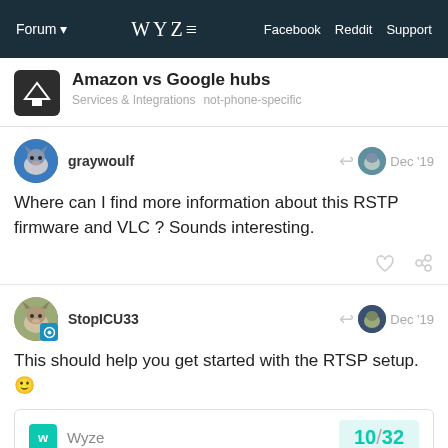Forum | WYZE | Facebook | Reddit | Support
Amazon vs Google hubs
Services & Integrations   not-phone-specific
graywoulf   Dec '19
Where can I find more information about this RSTP firmware and VLC ? Sounds interesting.
StopICU33   Dec '19
This should help you get started with the RTSP setup. 🙂
Wyze   10 / 32